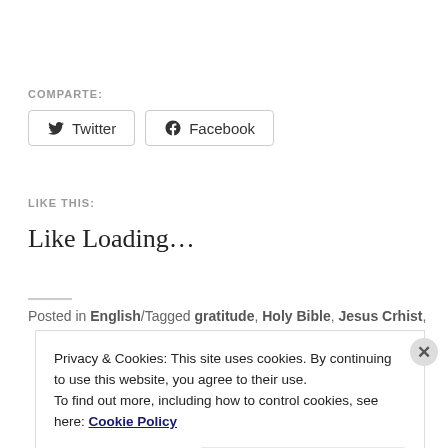COMPARTE:
Twitter  Facebook
LIKE THIS:
Like Loading...
Posted in English/Tagged gratitude, Holy Bible, Jesus Crhist,
Privacy & Cookies: This site uses cookies. By continuing to use this website, you agree to their use.
To find out more, including how to control cookies, see here: Cookie Policy
Close and accept